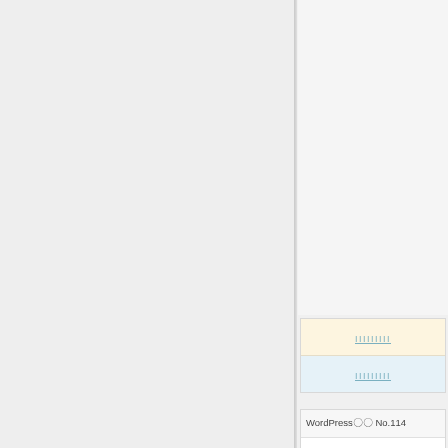[Figure (screenshot): Left panel: light gray empty area. Right sidebar panel with two button groups containing underlined link text in warm/cool colored rows, and a WordPress section header reading 'WordPress〇〇 No.114' with content area below.]
IIIIIIIII
IIIIIIIII
WordPress〇〇 No.114
IIIIIIIII
IIIIIIIII